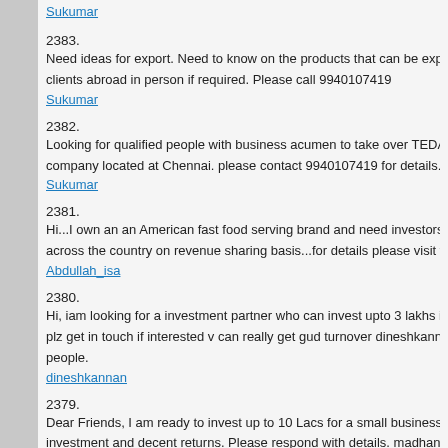Sukumar (link)
2383.
Need ideas for export. Need to know on the products that can be exp... clients abroad in person if required. Please call 9940107419
Sukumar
2382.
Looking for qualified people with business acumen to take over TEDA... company located at Chennai. please contact 9940107419 for details.
Sukumar
2381.
Hi...I own an an American fast food serving brand and need investors... across the country on revenue sharing basis...for details please visit w...
Abdullah_isa
2380.
Hi, iam looking for a investment partner who can invest upto 3 lakhs i... plz get in touch if interested v can really get gud turnover dineshkann... people.
dineshkannan
2379.
Dear Friends, I am ready to invest up to 10 Lacs for a small business... investment and decent returns. Please respond with details. madhan-...
madhanbabu
2378.
Hi who are all having restaurant hotel in chennai willing to expand yo... losses need idea to boostup contact me 9600096556
sathamysi